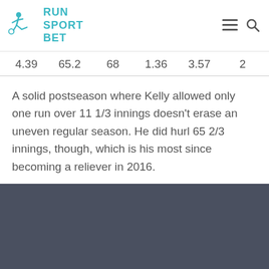RUN SPORT BET
| 4.39 | 65.2 | 68 | 1.36 | 3.57 | 2 |
A solid postseason where Kelly allowed only one run over 11 1/3 innings doesn’t erase an uneven regular season. He did hurl 65 2/3 innings, though, which is his most since becoming a reliever in 2016.
© 2022 All rights reserved.